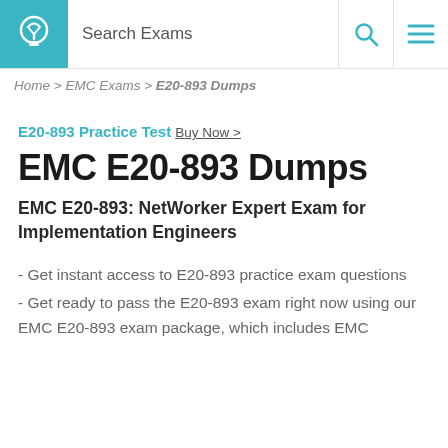Search Exams
Home > EMC Exams > E20-893 Dumps
E20-893 Practice Test Buy Now >
EMC E20-893 Dumps
EMC E20-893: NetWorker Expert Exam for Implementation Engineers
- Get instant access to E20-893 practice exam questions
- Get ready to pass the E20-893 exam right now using our EMC E20-893 exam package, which includes EMC